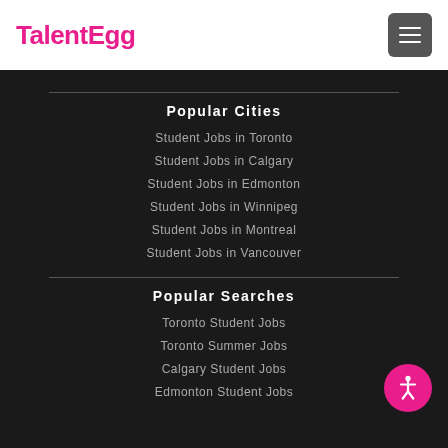TalentEgg
Popular Cities
Student Jobs in Toronto
Student Jobs in Calgary
Student Jobs in Edmonton
Student Jobs in Winnipeg
Student Jobs in Montreal
Student Jobs in Vancouver
Popular Searches
Toronto Student Jobs
Toronto Summer Jobs
Calgary Student Jobs
Edmonton Student Jobs